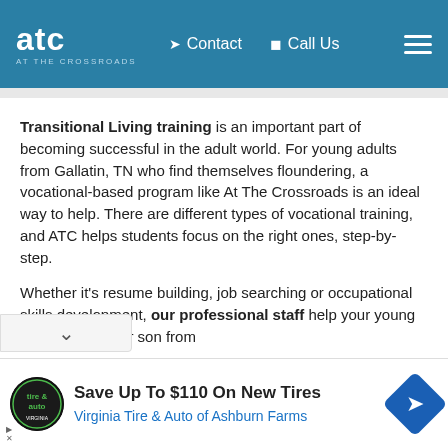ATC AT THE CROSSROADS | Contact | Call Us
Transitional Living training is an important part of becoming successful in the adult world. For young adults from Gallatin, TN who find themselves floundering, a vocational-based program like At The Crossroads is an ideal way to help. There are different types of vocational training, and ATC helps students focus on the right ones, step-by-step.
Whether it's resume building, job searching or occupational skills development, our professional staff help your young adult daughter or son from
[Figure (screenshot): Advertisement banner: Virginia Tire & Auto logo, 'Save Up To $110 On New Tires', 'Virginia Tire & Auto of Ashburn Farms']